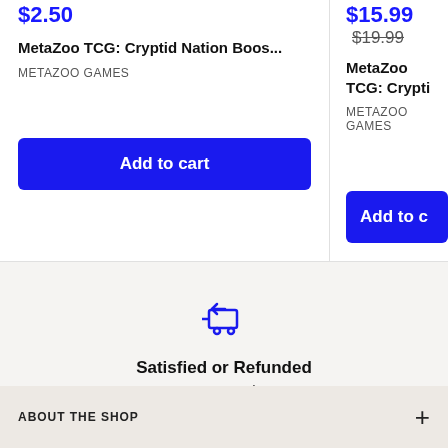$2.50
MetaZoo TCG: Cryptid Nation Boos...
METAZOO GAMES
Add to cart
$15.99  $19.99
MetaZoo TCG: Crypti
METAZOO GAMES
Add to c
[Figure (illustration): Shopping cart icon with a return/refund arrow, indicating a satisfaction guarantee or refund policy.]
Satisfied or Refunded
Here to Help!
ABOUT THE SHOP
+